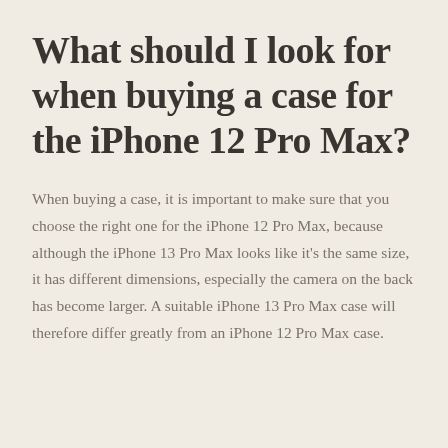What should I look for when buying a case for the iPhone 12 Pro Max?
When buying a case, it is important to make sure that you choose the right one for the iPhone 12 Pro Max, because although the iPhone 13 Pro Max looks like it's the same size, it has different dimensions, especially the camera on the back has become larger. A suitable iPhone 13 Pro Max case will therefore differ greatly from an iPhone 12 Pro Max case.